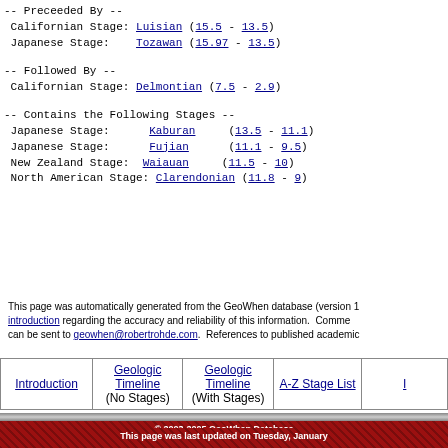-- Preceeded By --
 Californian Stage: Luisian (15.5 - 13.5)
 Japanese Stage:    Tozawan (15.97 - 13.5)
-- Followed By --
 Californian Stage: Delmontian (7.5 - 2.9)
-- Contains the Following Stages --
 Japanese Stage:      Kaburan      (13.5 - 11.1)
 Japanese Stage:      Fujian       (11.1 - 9.5)
 New Zealand Stage:   Waiauan      (11.5 - 10)
 North American Stage: Clarendonian (11.8 - 9)
This page was automatically generated from the GeoWhen database (version 1... introduction regarding the accuracy and reliability of this information. Comments can be sent to geowhen@robertrohde.com. References to published academic...
| Introduction | Geologic Timeline (No Stages) | Geologic Timeline (With Stages) | A-Z Stage List | I... |
| --- | --- | --- | --- | --- |
|  |
© 2003-2005 GeoWhen Database Prepared By Robert A. Rohde
This page was last updated on Tuesday, January...